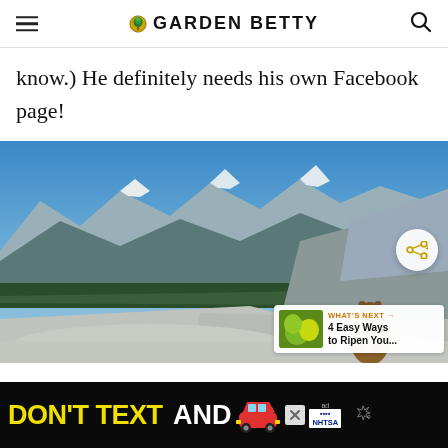GARDEN BETTY
know.) He definitely needs his own Facebook page!
[Figure (photo): A marmot standing on granite rock with a sweeping Yosemite mountain panorama in the background, blue sky, snow-capped peaks, and forested valleys. A share button overlay is visible, and a 'What's Next' card shows '4 Easy Ways to Ripen You...']
[Figure (other): Advertisement banner: DON'T TEXT AND [car emoji] with NHTSA ad choice logo and weather widget]